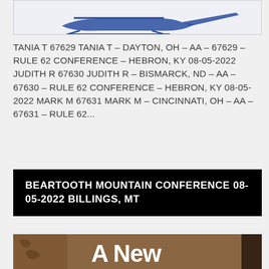[Figure (illustration): Top portion of a logo or graphic with blue helicopter/aircraft silhouette on white/light background, partially visible at top of page]
TANIA T 67629 TANIA T – DAYTON, OH – AA – 67629 – RULE 62 CONFERENCE – HEBRON, KY 08-05-2022 JUDITH R 67630 JUDITH R – BISMARCK, ND – AA – 67630 – RULE 62 CONFERENCE – HEBRON, KY 08-05-2022 MARK M 67631 MARK M – CINCINNATI, OH – AA – 67631 – RULE 62...
Read more
BEARTOOTH MOUNTAIN CONFERENCE 08-05-2022 BILLINGS, MT
[Figure (photo): Bottom portion of an image showing a brownish background with graffiti-like markings on left side and large white bold text reading 'A New' on right side, with a dark figure partially visible at far right]